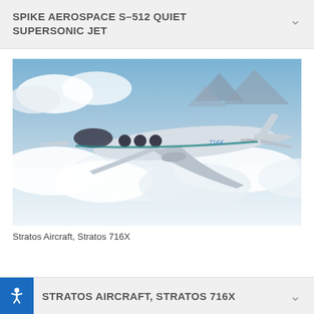SPIKE AEROSPACE S-512 QUIET SUPERSONIC JET
[Figure (photo): Stratos Aircraft 716X private jet in flight above clouds and mountains, silver exterior with teal stripe, side view]
Stratos Aircraft, Stratos 716X
STRATOS AIRCRAFT, STRATOS 716X